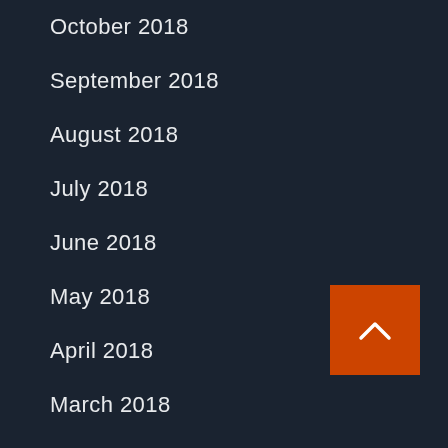October 2018
September 2018
August 2018
July 2018
June 2018
May 2018
April 2018
March 2018
February 2018
January 2018
[Figure (other): Orange back-to-top button with white chevron/up-arrow icon]